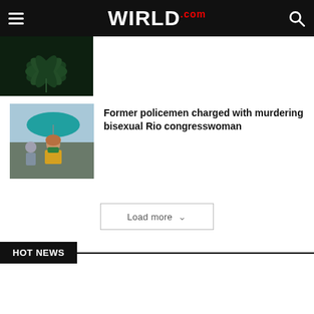WIRLD.com
[Figure (photo): Cannabis/marijuana leaf close-up, dark green on black background]
[Figure (photo): Woman in colorful outfit holding an umbrella at a public event, smiling]
Former policemen charged with murdering bisexual Rio congresswoman
Load more
HOT NEWS